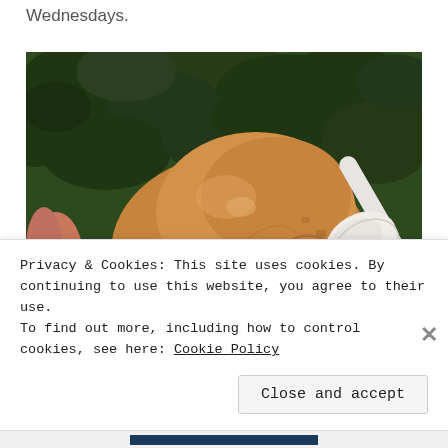Wednesdays.
[Figure (photo): Close-up photo of a scoop of caramel/peanut butter flavored ice cream being held in a cup, with a white plastic spoon inserted into it, outdoors with green foliage in background.]
Privacy & Cookies: This site uses cookies. By continuing to use this website, you agree to their use.
To find out more, including how to control cookies, see here: Cookie Policy
Close and accept